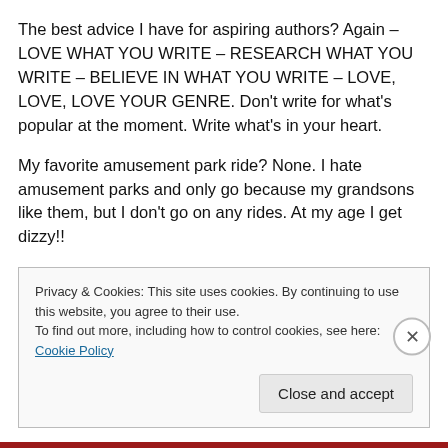The best advice I have for aspiring authors? Again – LOVE WHAT YOU WRITE – RESEARCH WHAT YOU WRITE – BELIEVE IN WHAT YOU WRITE – LOVE, LOVE, LOVE YOUR GENRE. Don't write for what's popular at the moment. Write what's in your heart.
My favorite amusement park ride? None. I hate amusement parks and only go because my grandsons like them, but I don't go on any rides. At my age I get dizzy!!
Coffee or tea? – COFFEE!!! All day long.
Privacy & Cookies: This site uses cookies. By continuing to use this website, you agree to their use. To find out more, including how to control cookies, see here: Cookie Policy